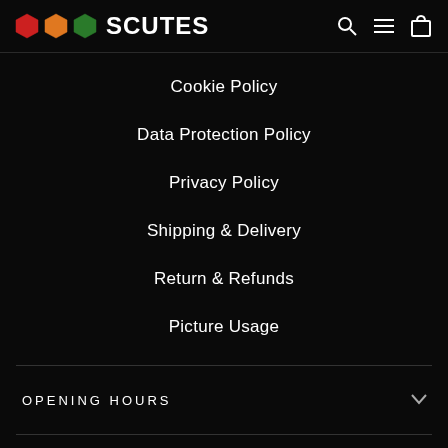SCUTES
Cookie Policy
Data Protection Policy
Privacy Policy
Shipping & Delivery
Return & Refunds
Picture Usage
OPENING HOURS
CONTACT
Powered by Shopify